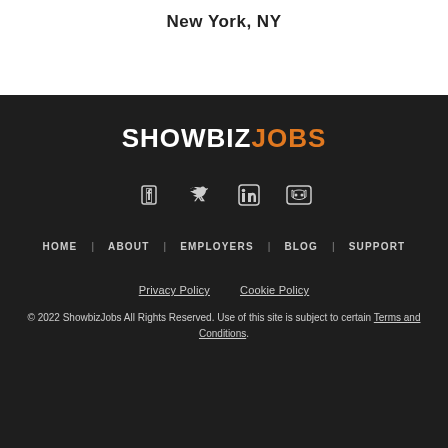New York, NY
[Figure (logo): ShowbizJobs logo in white and orange text on dark background]
[Figure (infographic): Social media icons: Facebook, Twitter, LinkedIn, Discord]
HOME   ABOUT   EMPLOYERS   BLOG   SUPPORT
Privacy Policy   Cookie Policy
© 2022 ShowbizJobs All Rights Reserved. Use of this site is subject to certain Terms and Conditions.